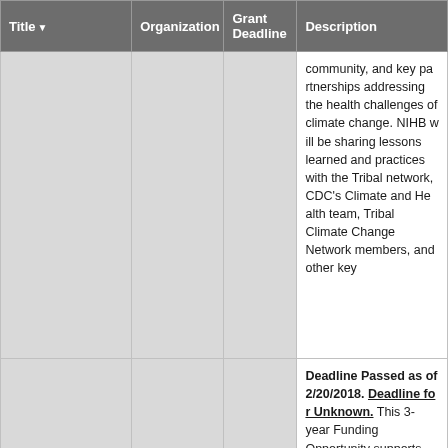| Title | Organization | Grant Deadline | Description |
| --- | --- | --- | --- |
|  |  |  | community, and key pa... addressing the health c... climate change. NIHB w... sharing lessons learne... practices with the Trib... CDC's Climate and He... Tribal Climate Change ... members, and other ke... |
|  |  |  | Deadline Passed as o... 2/20/2018. Deadline fo... Unknown. This 3-year... Funding Opportunity su... practices identified by t... leaders that build resili... connections to commu... culture, which over tim... factors for chronic dise... American Indians and A... Recipients will include ... American Indian Tribes... villages, or American Ir... |